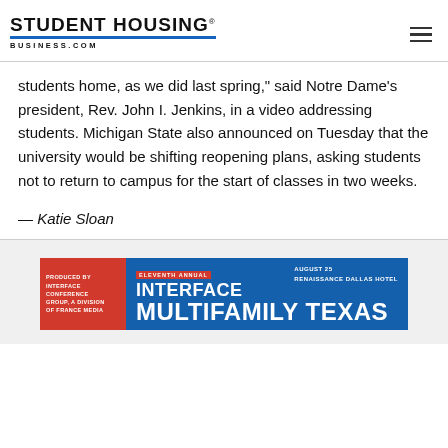STUDENT HOUSING BUSINESS.COM
students home, as we did last spring," said Notre Dame's president, Rev. John I. Jenkins, in a video addressing students. Michigan State also announced on Tuesday that the university would be shifting reopening plans, asking students not to return to campus for the start of classes in two weeks.
— Katie Sloan
[Figure (infographic): Advertisement banner for Interface Multifamily Texas event. Eleventh Annual. August 25, Renaissance Dallas Hotel. Produced by Interface Conference Group, a division of France Media.]